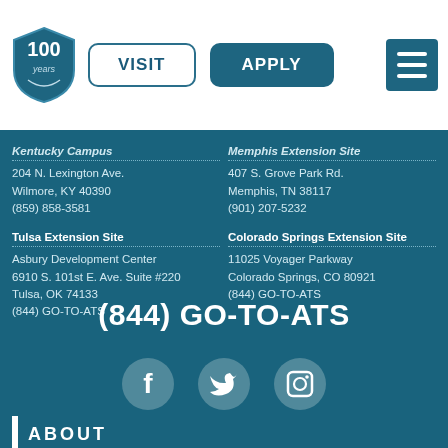[Figure (logo): Shield logo with '100 years' text]
VISIT
APPLY
[Figure (other): Hamburger menu icon]
Kentucky Campus
204 N. Lexington Ave.
Wilmore, KY 40390
(859) 858-3581
Memphis Extension Site
407 S. Grove Park Rd.
Memphis, TN 38117
(901) 207-5232
Tulsa Extension Site
Asbury Development Center
6910 S. 101st E. Ave. Suite #220
Tulsa, OK 74133
(844) GO-TO-ATS
Colorado Springs Extension Site
11025 Voyager Parkway
Colorado Springs, CO 80921
(844) GO-TO-ATS
(844) GO-TO-ATS
[Figure (infographic): Facebook, Twitter, Instagram social media icons]
ABOUT